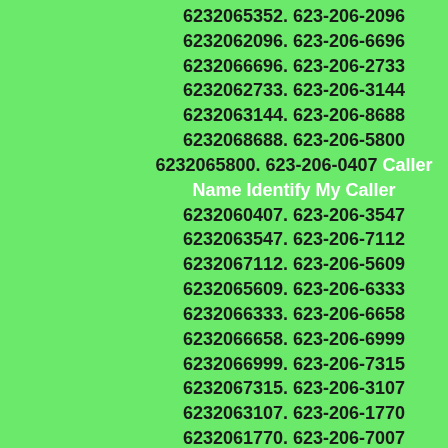6232065352. 623-206-2096 6232062096. 623-206-6696 6232066696. 623-206-2733 6232062733. 623-206-3144 6232063144. 623-206-8688 6232068688. 623-206-5800 6232065800. 623-206-0407 Caller Name Identify My Caller 6232060407. 623-206-3547 6232063547. 623-206-7112 6232067112. 623-206-5609 6232065609. 623-206-6333 6232066333. 623-206-6658 6232066658. 623-206-6999 6232066999. 623-206-7315 6232067315. 623-206-3107 6232063107. 623-206-1770 6232061770. 623-206-7007 6232067007. 623-206-2948 6232062948. 623-206-1677 6232061677. 623-206-1191 6232061191. 623-206-4564 6232064564. 623-206-3029 6232063029. 623-206-2528 6232062528. 623-206-9260 6232069260. 623-206-7604 6232067604. 623-206-4798